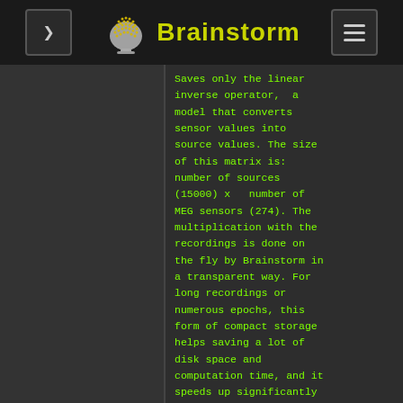Brainstorm
Saves only the linear inverse operator,  a model that converts sensor values into source values. The size of this matrix is: number of sources (15000) x   number of MEG sensors (274). The multiplication with the recordings is done on the fly by Brainstorm in a transparent way. For long recordings or numerous epochs, this form of compact storage helps saving a lot of disk space and computation time, and it speeds up significantly the display. Always select this option when possible.
* '''Full results''':